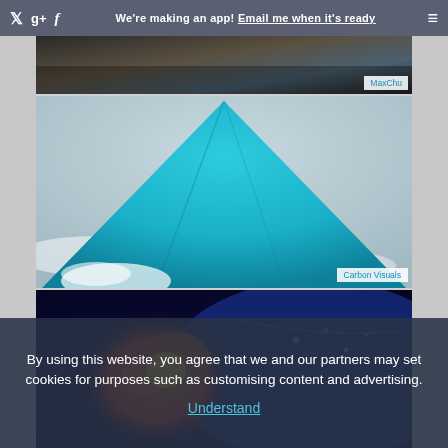We're making an app! Email me when it's ready
[Figure (photo): Partial top image credited to MaxChu, showing a dark outdoor scene]
[Figure (photo): A large turquoise/teal mountain or pile shape against a grey/icy background, credited to Carbon Visuals]
[Figure (photo): Colorful illuminated display with orange, blue, and purple lights, possibly an aquarium or art installation]
By using this website, you agree that we and our partners may set cookies for purposes such as customising content and advertising.
Understand